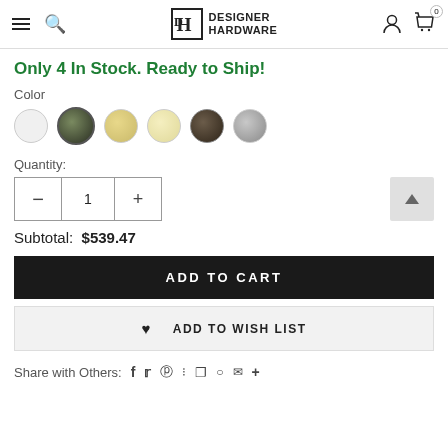DESIGNER HARDWARE
Only 4 In Stock. Ready to Ship!
Color
[Figure (other): Six circular color swatches: white, dark olive/green, gold, cream/beige, dark brown, and gray]
Quantity:
Subtotal: $539.47
ADD TO CART
ADD TO WISH LIST
Share with Others: